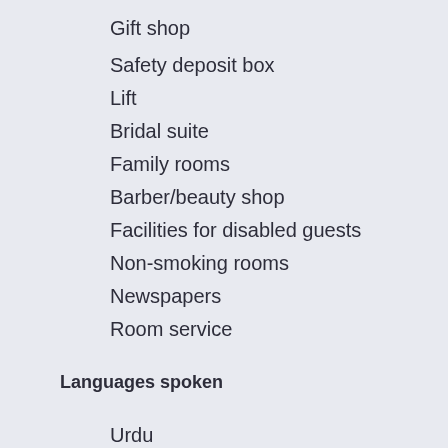Gift shop
Safety deposit box
Lift
Bridal suite
Family rooms
Barber/beauty shop
Facilities for disabled guests
Non-smoking rooms
Newspapers
Room service
Languages spoken
Urdu
Russian
Italian
Hindi